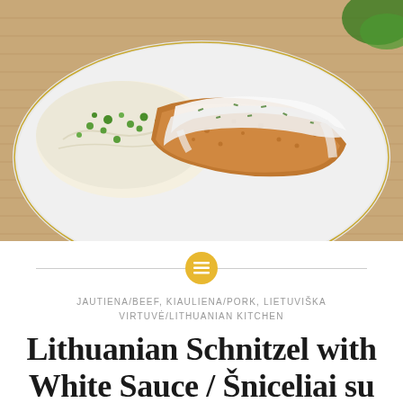[Figure (photo): A plate of breaded schnitzel cutlets topped with white cream sauce garnished with fresh herbs, served alongside mashed potatoes topped with chopped green onions, on a burlap background]
JAUTIENA/BEEF, KIAULIENA/PORK, LIETUVIŠKA VIRTUVĖ/LITHUANIAN KITCHEN
Lithuanian Schnitzel with White Sauce / Šniceliai su